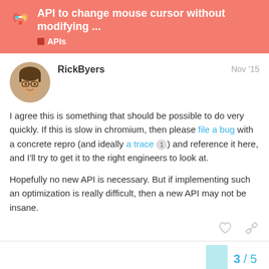API to change mouse cursor without modifying ...
APIs
RickByers   Nov '15
I agree this is something that should be possible to do very quickly. If this is slow in chromium, then please file a bug with a concrete repro (and ideally a trace 1) and reference it here, and I'll try to get it to the right engineers to look at.

Hopefully no new API is necessary. But if implementing such an optimization is really difficult, then a new API may not be insane.
3 / 5
Suggested Topics